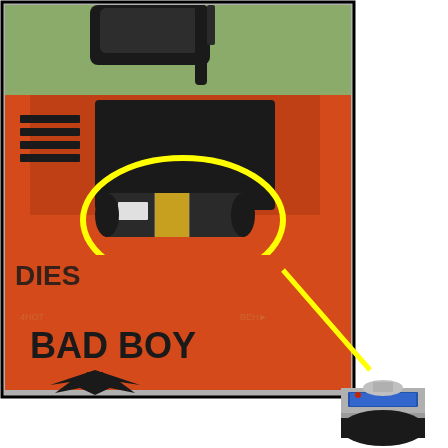[Figure (photo): Photo of a red Bad Boy Diesel zero-turn lawn mower with a yellow ellipse circling the fuel filter/component on the engine. A yellow arrow line points down and to the right toward a separate close-up photo of the component (a cylindrical fuel filter or pump with black and silver sections). The mower body is orange-red and displays 'BAD BOY' text and a wing logo.]